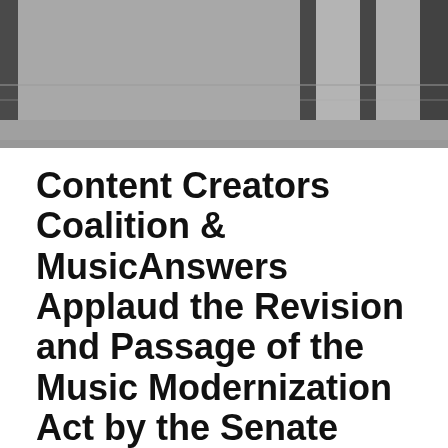[Figure (photo): Black and white street scene photo showing a person walking on a sidewalk with columns/pillars in the background]
Content Creators Coalition & MusicAnswers Applaud the Revision and Passage of the Music Modernization Act by the Senate Judiciary Committee
Posted by Editor Charlie
PRESS RELEASE
[Washington, D.C.] – The Content Creators Coalition and